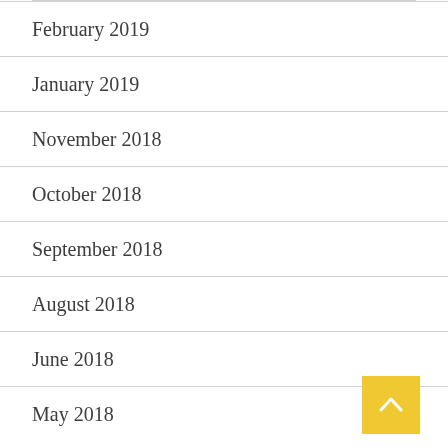February 2019
January 2019
November 2018
October 2018
September 2018
August 2018
June 2018
May 2018